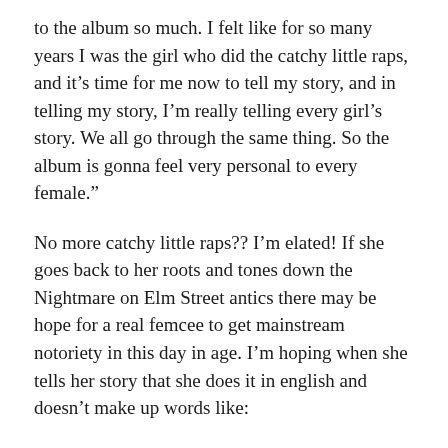to the album so much. I felt like for so many years I was the girl who did the catchy little raps, and it’s time for me now to tell my story, and in telling my story, I’m really telling every girl’s story. We all go through the same thing. So the album is gonna feel very personal to every female.”
No more catchy little raps?? I’m elated! If she goes back to her roots and tones down the Nightmare on Elm Street antics there may be hope for a real femcee to get mainstream notoriety in this day in age. I’m hoping when she tells her story that she does it in english and doesn’t make up words like:
“bestest”
“todd-lor”
“ba-donk-a-donk”